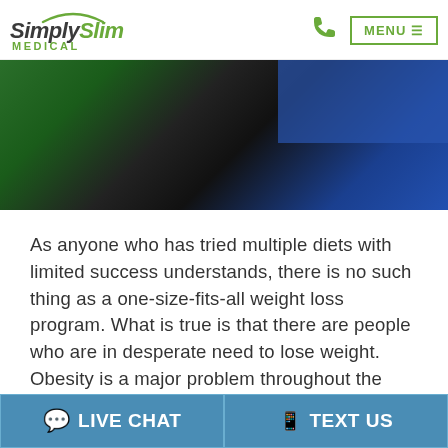SimplySlim Medical — MENU
[Figure (photo): Close-up photo showing a person in dark clothing with a green and blue background, cropped view of shoulder/back area.]
As anyone who has tried multiple diets with limited success understands, there is no such thing as a one-size-fits-all weight loss program. What is true is that there are people who are in desperate need to lose weight. Obesity is a major problem throughout the United States. While there is not one solution that is going to work
LIVE CHAT    TEXT US